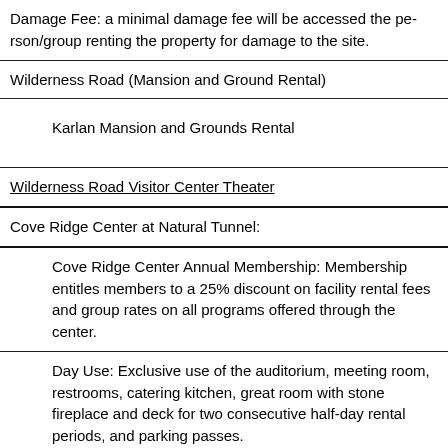| Damage Fee: a minimal damage fee will be accessed the person/group renting the property for damage to the site. |
| Wilderness Road (Mansion and Ground Rental) |
| Karlan Mansion and Grounds Rental |
| Wilderness Road Visitor Center Theater |
| Cove Ridge Center at Natural Tunnel: |
| Cove Ridge Center Annual Membership: Membership entitles members to a 25% discount on facility rental fees and group rates on all programs offered through the center. |
| Day Use: Exclusive use of the auditorium, meeting room, restrooms, catering kitchen, great room with stone fireplace and deck for two consecutive half-day rental periods, and parking passes. |